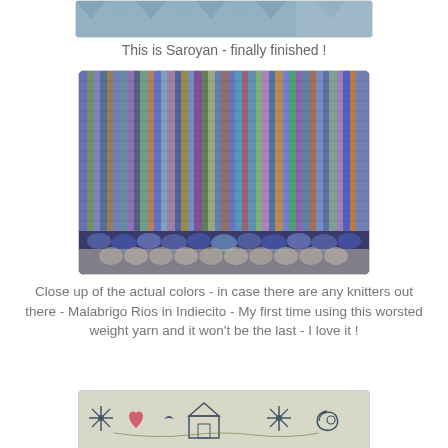[Figure (photo): Top portion of a photo showing a knitted item or cushion with a geometric/diamond pattern in blue-grey tones, partially cropped at the top of the page.]
This is Saroyan - finally finished !
[Figure (photo): Close-up photo of a knitted shawl or scarf showing colorful vertical striped knitting in blues, purples, greens, and oranges (Malabrigo Rios in Indiecito yarn), with a decorative scalloped/leaf lace border at the bottom edge.]
Close up of the actual colors - in case there are any knitters out there - Malabrigo Rios in Indiecito - My first time using this worsted weight yarn and it won't be the last - I love it !
[Figure (photo): Bottom portion of a cross-stitch embroidery piece showing folk-art style designs including snowflakes, a house, birds, and decorative motifs in dark thread on light fabric, partially cropped at the bottom of the page.]